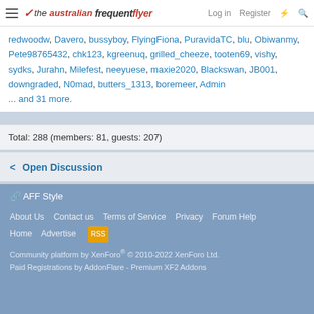Log in  Register
redwoodw, Davero, bussyboy, FlyingFiona, PuravidaTC, blu, Obiwanmy, Pete98765432, chk123, kgreenuq, grilled_cheeze, tooten69, vishy, sydks, Jurahn, Milefest, neeyuese, maxie2020, Blackswan, JB001, downgraded, N0mad, butters_1313, boremeer, Admin
... and 31 more.
Total: 288 (members: 81, guests: 207)
< Open Discussion
🔗 AFF Style
About Us  Contact us  Terms of Service  Privacy  Forum Help  Home  Advertise  RSS
Community platform by XenForo® © 2010-2022 XenForo Ltd. Paid Registrations by AddonFlare - Premium XF2 Addons